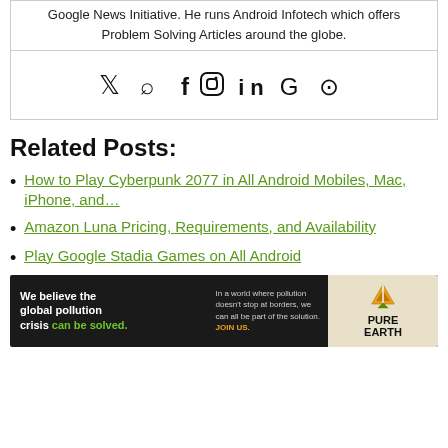Google News Initiative. He runs Android Infotech which offers Problem Solving Articles around the globe.
[Figure (infographic): Social media icons row: Twitter, search/Quora, Facebook, Instagram, LinkedIn, Google, GitHub]
Related Posts:
How to Play Cyberpunk 2077 in All Android Mobiles, Mac, iPhone, and…
Amazon Luna Pricing, Requirements, and Availability
Play Google Stadia Games on All Android
[Figure (photo): Pure Earth advertisement banner: 'We believe the global pollution crisis can be solved. In a world where pollution doesn't stop at borders, we can all be part of the solution. JOIN US.' with Pure Earth logo.]